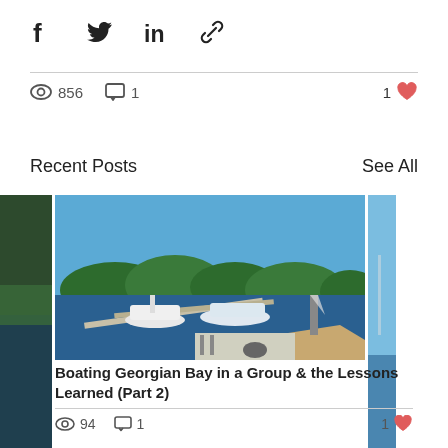[Figure (infographic): Social share icons: Facebook, Twitter, LinkedIn, Link/chain]
856 views  1 comment  1 like
Recent Posts
See All
[Figure (photo): Photo of boats docked at a marina on Georgian Bay with blue sky and trees in background]
Boating Georgian Bay in a Group & the Lessons Learned (Part 2)
94 views  1 comment  1 like